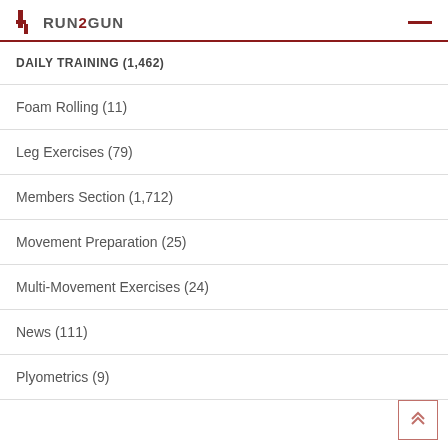RUN2GUN
DAILY TRAINING (1,462)
Foam Rolling (11)
Leg Exercises (79)
Members Section (1,712)
Movement Preparation (25)
Multi-Movement Exercises (24)
News (111)
Plyometrics (9)